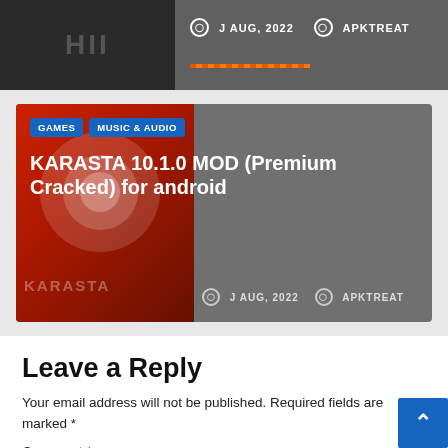[Figure (screenshot): Top card showing a dark image with clock icon, J AUG, 2022 date and APKTREAT author, with orange dotted bar decoration]
[Figure (screenshot): KARASTA 10.1.0 MOD (Premium Cracked) for android card with GAMES and MUSIC & AUDIO badges, date J AUG 2022 and author APKTREAT on dark gradient background]
Leave a Reply
Your email address will not be published. Required fields are marked *
Comment *